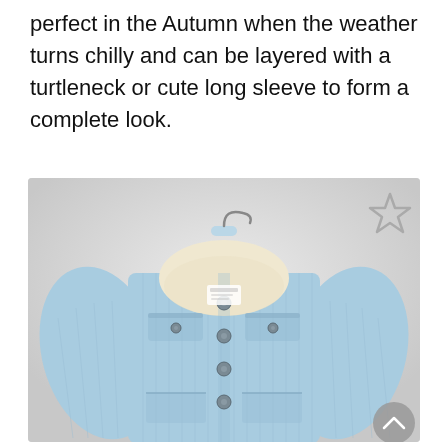perfect in the Autumn when the weather turns chilly and can be layered with a turtleneck or cute long sleeve to form a complete look.
[Figure (photo): A light blue corduroy jacket with cream/off-white sherpa fleece collar, snap buttons, two chest pockets with flap buttons, and two lower pockets. The jacket is displayed on a hanger against a light gray background. A star (bookmark) icon is visible in the upper right of the image, and a scroll-to-top button is in the lower right.]